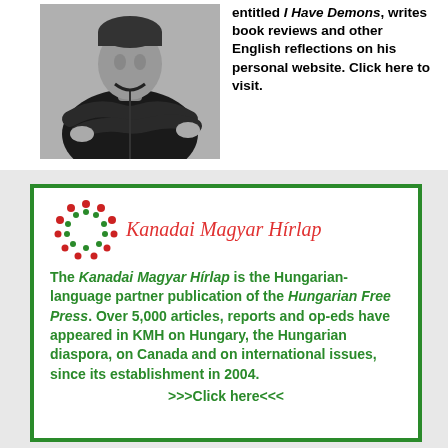[Figure (photo): Black and white photo of a man with arms crossed, wearing a dark zip-up sweater]
entitled I Have Demons, writes book reviews and other English reflections on his personal website. Click here to visit.
[Figure (logo): Kanadai Magyar Hírlap logo with circular dot pattern in red and green]
The Kanadai Magyar Hírlap is the Hungarian-language partner publication of the Hungarian Free Press. Over 5,000 articles, reports and op-eds have appeared in KMH on Hungary, the Hungarian diaspora, on Canada and on international issues, since its establishment in 2004. >>>Click here<<<